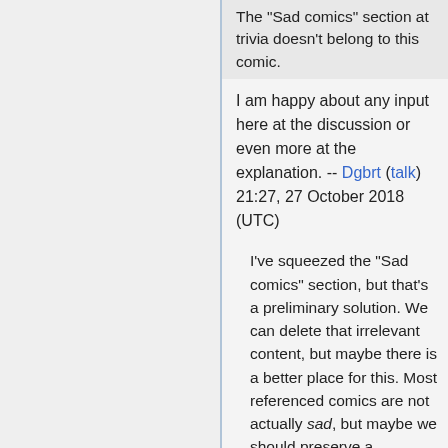The "Sad comics" section at trivia doesn't belong to this comic.
I am happy about any input here at the discussion or even more at the explanation. -- Dgbrt (talk) 21:27, 27 October 2018 (UTC)
I've squeezed the "Sad comics" section, but that's a preliminary solution. We can delete that irrelevant content, but maybe there is a better place for this. Most referenced comics are not actually sad, but maybe we should preserve a reference at this trivia to other comics, entitled by a